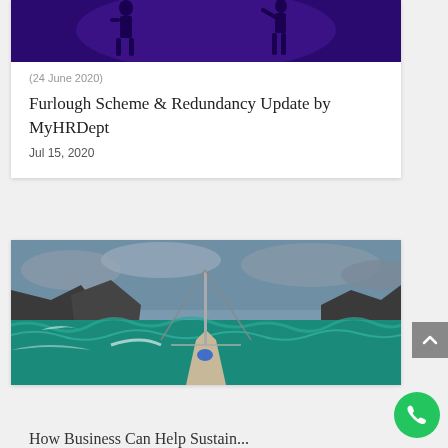[Figure (photo): Purple background with dark silhouette figures, top portion of a card]
(24 June 2020)
Furlough Scheme & Redundancy Update by MyHRDept
Jul 15, 2020
[Figure (photo): Sailboat on rough turquoise ocean waters with rocky cliffs and stormy sky in background]
How Business Can Help Sustain...